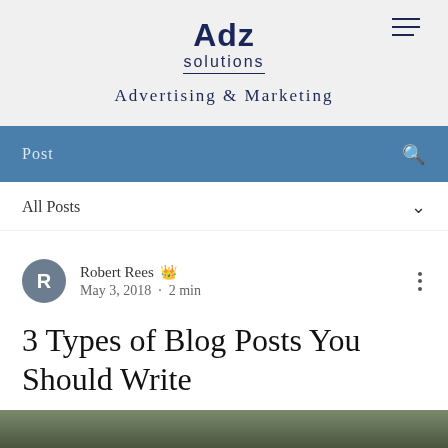[Figure (logo): Adz Solutions logo with hamburger menu icon]
Advertising & Marketing
Post
All Posts
Robert Rees   May 3, 2018 · 2 min
3 Types of Blog Posts You Should Write
[Figure (photo): Blurred photo at bottom of page]